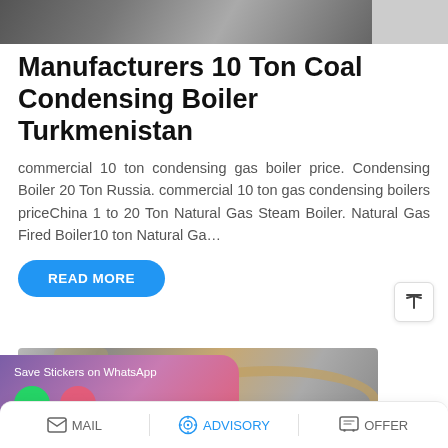[Figure (photo): Top portion of a photo showing industrial boiler equipment in a factory/warehouse setting]
Manufacturers 10 Ton Coal Condensing Boiler Turkmenistan
commercial 10 ton condensing gas boiler price. Condensing Boiler 20 Ton Russia. commercial 10 ton gas condensing boilers priceChina 1 to 20 Ton Natural Gas Steam Boiler. Natural Gas Fired Boiler10 ton Natural Ga…
[Figure (photo): Photo of industrial boiler piping and equipment, with a WhatsApp sticker save overlay in the bottom left corner showing phone and emoji icons]
MAIL   ADVISORY   OFFER